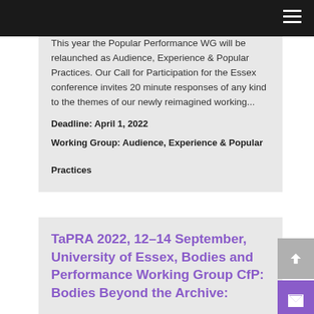This year the Popular Performance WG will be relaunched as Audience, Experience & Popular Practices. Our Call for Participation for the Essex conference invites 20 minute responses of any kind to the themes of our newly reimagined working...
Deadline: April 1, 2022
Working Group: Audience, Experience & Popular Practices
TaPRA 2022, 12–14 September, University of Essex, Bodies and Performance Working Group CfP: Bodies Beyond the Archive: